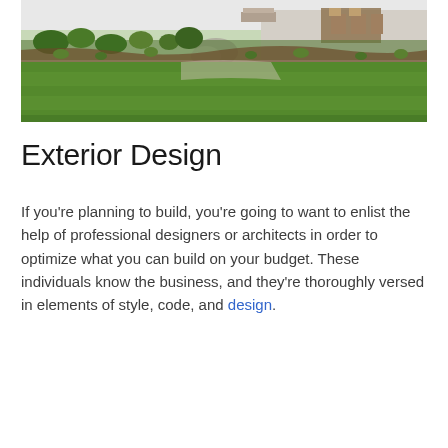[Figure (photo): Aerial/wide view of a landscaped backyard with a lush green lawn, garden beds with shrubs and plants, stone patio area with outdoor furniture in the background.]
Exterior Design
If you're planning to build, you're going to want to enlist the help of professional designers or architects in order to optimize what you can build on your budget. These individuals know the business, and they're thoroughly versed in elements of style, code, and design.